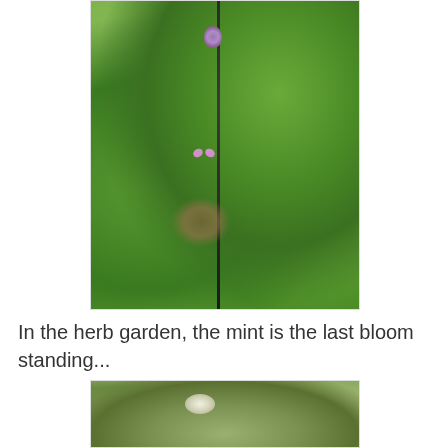[Figure (photo): Close-up photograph of a mint plant with a dark vertical stem, small purple/pink flowers at the top and middle, surrounded by large green leaves. Brown leaf litter visible in the background.]
In the herb garden, the mint is the last bloom standing...
[Figure (photo): Close-up photograph of another plant in the herb garden, showing green foliage with what appears to be a small white flower bud.]